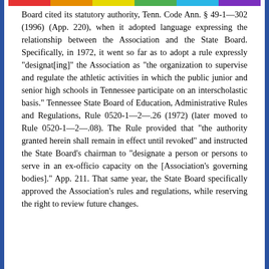Board cited its statutory authority, Tenn. Code Ann. § 49-1—302 (1996) (App. 220), when it adopted language expressing the relationship between the Association and the State Board. Specifically, in 1972, it went so far as to adopt a rule expressly "designat[ing]" the Association as "the organization to supervise and regulate the athletic activities in which the public junior and senior high schools in Tennessee participate on an interscholastic basis." Tennessee State Board of Education, Administrative Rules and Regulations, Rule 0520-1—2—.26 (1972) (later moved to Rule 0520-1—2—.08). The Rule provided that "the authority granted herein shall remain in effect until revoked" and instructed the State Board's chairman to "designate a person or persons to serve in an ex-officio capacity on the [Association's governing bodies]." App. 211. That same year, the State Board specifically approved the Association's rules and regulations, while reserving the right to review future changes.